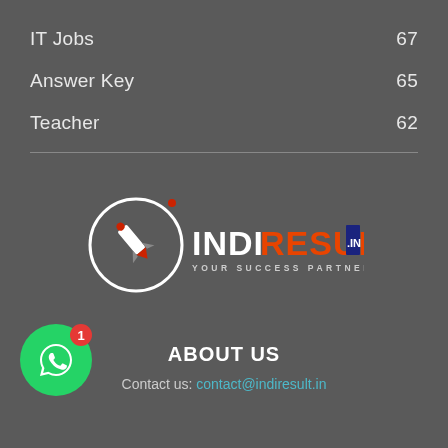IT Jobs  67
Answer Key  65
Teacher  62
[Figure (logo): INDIRESULT.IN logo with rocket/compass graphic and tagline YOUR SUCCESS PARTNER]
ABOUT US
Contact us: contact@indiresult.in